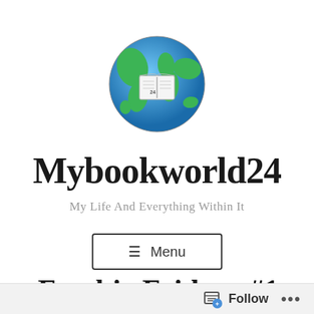[Figure (logo): Globe emoji with an open book in the center, showing the Mybookworld24 blog logo — a green and blue Earth with a small open book overlay]
Mybookworld24
My Life And Everything Within It
☰ Menu
Freebie Fridays #1
Follow ...